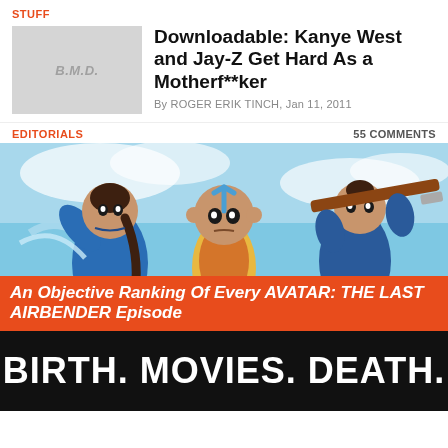STUFF
Downloadable: Kanye West and Jay-Z Get Hard As a Motherf**ker
By ROGER ERIK TINCH, Jan 11, 2011
EDITORIALS
55 COMMENTS
[Figure (illustration): Animated characters from Avatar: The Last Airbender — Katara on the left in blue waterbending pose, Aang in the center with blue arrow tattoo on forehead, and Sokka on the right holding a weapon. Characters are in dynamic action poses against a blue sky background.]
An Objective Ranking Of Every AVATAR: THE LAST AIRBENDER Episode
BIRTH. MOVIES. DEATH.